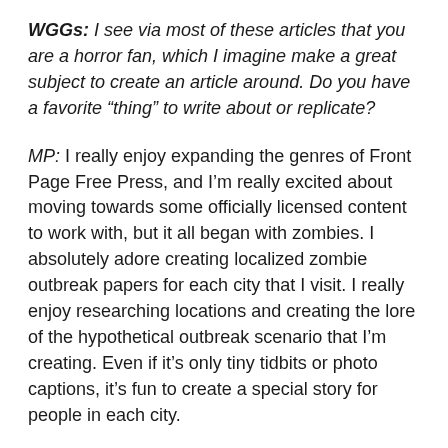WGGs: I see via most of these articles that you are a horror fan, which I imagine make a great subject to create an article around. Do you have a favorite “thing” to write about or replicate?
MP: I really enjoy expanding the genres of Front Page Free Press, and I’m really excited about moving towards some officially licensed content to work with, but it all began with zombies. I absolutely adore creating localized zombie outbreak papers for each city that I visit. I really enjoy researching locations and creating the lore of the hypothetical outbreak scenario that I’m creating. Even if it’s only tiny tidbits or photo captions, it’s fun to create a special story for people in each city.
WGGs: How long has this been an interest for you? How